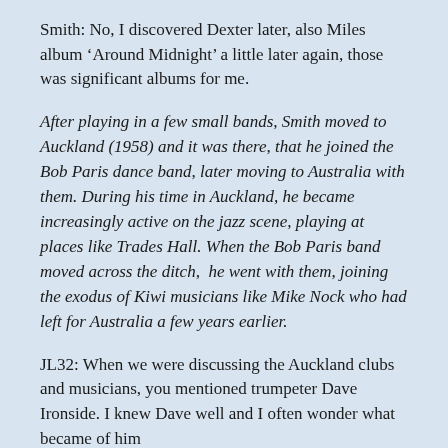Smith: No, I discovered Dexter later, also Miles album 'Around Midnight' a little later again, those was significant albums for me.
After playing in a few small bands, Smith moved to Auckland (1958) and it was there, that he joined the Bob Paris dance band, later moving to Australia with them. During his time in Auckland, he became increasingly active on the jazz scene, playing at places like Trades Hall. When the Bob Paris band moved across the ditch,  he went with them, joining the exodus of Kiwi musicians like Mike Nock who had left for Australia a few years earlier.
JL32: When we were discussing the Auckland clubs and musicians, you mentioned trumpeter Dave Ironside. I knew Dave well and I often wonder what became of him